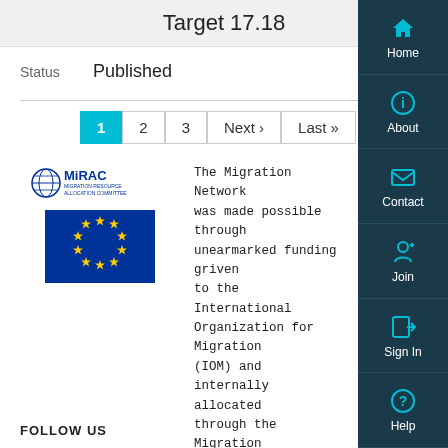Target 17.18
Status   Published
1  2  3  Next ›  Last »
[Figure (logo): MiRAC (Migration Resource Allocation Committee) logo and EU flag side by side]
The Migration Network was made possible through unearmarked funding given to the International Organization for Migration (IOM) and internally allocated through the Migration Resource Allocation Committee (MiRAC). The is also co-funded by the European Union.
FOLLOW US
Home
About
Contact
Join
Sign In
Help